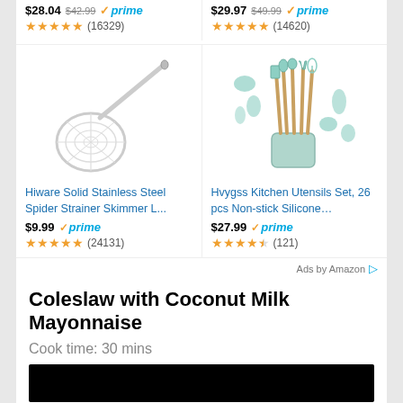$28.04 $42.99 prime (16329)
$29.97 $49.99 prime (14620)
[Figure (photo): Hiware Solid Stainless Steel Spider Strainer Skimmer product image]
[Figure (photo): Hvygss Kitchen Utensils Set 26 pcs Non-stick Silicone product image]
Hiware Solid Stainless Steel Spider Strainer Skimmer L...
Hvygss Kitchen Utensils Set, 26 pcs Non-stick Silicone...
$9.99 prime (24131)
$27.99 prime (121)
Ads by Amazon
Coleslaw with Coconut Milk Mayonnaise
Cook time: 30 mins
[Figure (photo): Black video/image thumbnail]